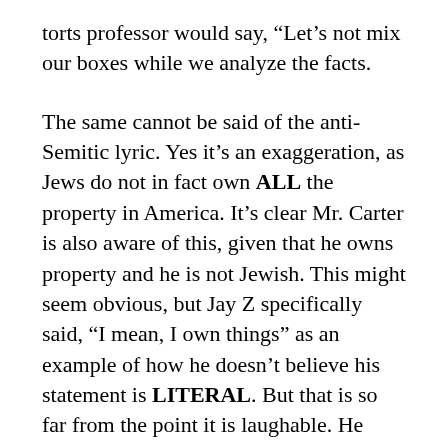torts professor would say, “Let’s not mix our boxes while we analyze the facts.
The same cannot be said of the anti-Semitic lyric. Yes it’s an exaggeration, as Jews do not in fact own ALL the property in America. It’s clear Mr. Carter is also aware of this, given that he owns property and he is not Jewish. This might seem obvious, but Jay Z specifically said, “I mean, I own things” as an example of how he doesn’t believe his statement is LITERAL. But that is so far from the point it is laughable. He might not literally believe his statement to be true, but his dismissal once again discards the history of this Anti-Semitic comment, and the danger in perpetuating it. He’s not using it to